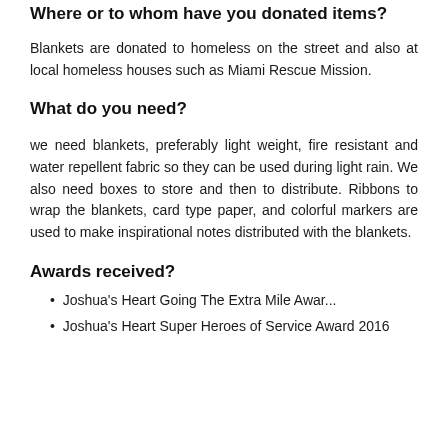Where or to whom have you donated items?
Blankets are donated to homeless on the street and also at local homeless houses such as Miami Rescue Mission.
What do you need?
we need blankets, preferably light weight, fire resistant and water repellent fabric so they can be used during light rain. We also need boxes to store and then to distribute. Ribbons to wrap the blankets, card type paper, and colorful markers are used to make inspirational notes distributed with the blankets.
Awards received?
Joshua's Heart Going The Extra Mile Award
Joshua's Heart Super Heroes of Service Award 2016